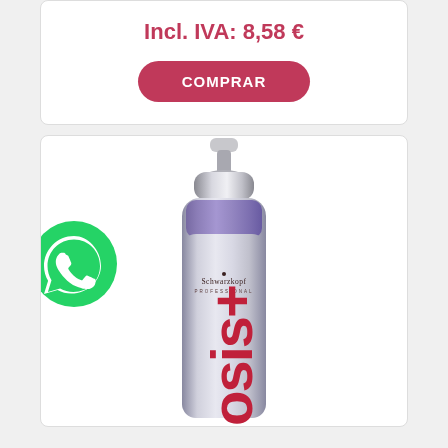Incl. IVA: 8,58 €
[Figure (screenshot): Pink rounded button with text COMPRAR]
[Figure (photo): Schwarzkopf OSis+ hair product bottle with pump dispenser, silver and purple bottle with red OSis+ branding, shown against white background. Green WhatsApp icon bubble overlaid on left side.]